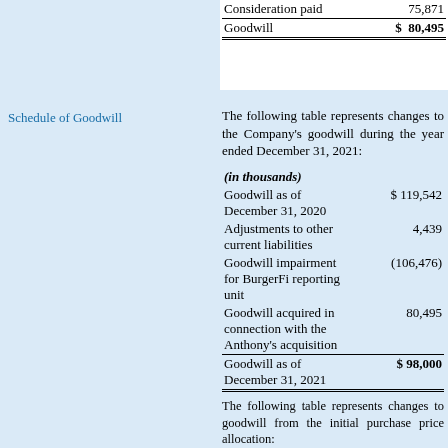|  |  |
| --- | --- |
| Consideration paid | 75,871 |
| Goodwill | $ 80,495 |
Schedule of Goodwill
The following table represents changes to the Company's goodwill during the year ended December 31, 2021:
| (in thousands) |  |
| --- | --- |
| Goodwill as of December 31, 2020 | $ 119,542 |
| Adjustments to other current liabilities | 4,439 |
| Goodwill impairment for BurgerFi reporting unit | (106,476) |
| Goodwill acquired in connection with the Anthony's acquisition | 80,495 |
| Goodwill as of December 31, 2021 | $ 98,000 |
The following table represents changes to goodwill from the initial purchase price allocation:
| (in thousands) |  |
| --- | --- |
| Goodwill as of December 31, 2020 | $119,542 |
| Adjustments to other current liabilities |  |